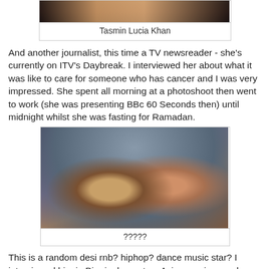[Figure (photo): Partial photo of Tasmin Lucia Khan, cropped at top]
Tasmin Lucia Khan
And another journalist, this time a TV newsreader - she's currently on ITV's Daybreak. I interviewed her about what it was like to care for someone who has cancer and I was very impressed. She spent all morning at a photoshoot then went to work (she was presenting BBc 60 Seconds then) until midnight whilst she was fasting for Ramadan.
[Figure (photo): A man wearing sunglasses and a scarf with a woman with red hair in a blue top]
?????
This is a random desi rnb? hiphop? dance music star? I interviewed him in Birmingham at an Asian music awards event. I can't remember his name but I'm sure he had a